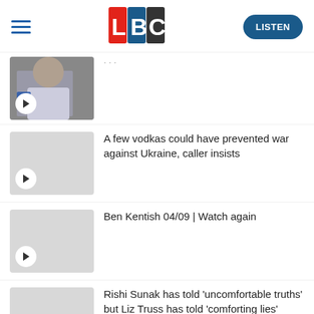[Figure (logo): LBC radio station logo with L in red, B in blue, C in black squares]
[Figure (photo): Thumbnail of a radio presenter at a microphone with a play button overlay]
A few vodkas could have prevented war against Ukraine, caller insists
Ben Kentish 04/09 | Watch again
Rishi Sunak has told 'uncomfortable truths' but Liz Truss has told 'comforting lies'